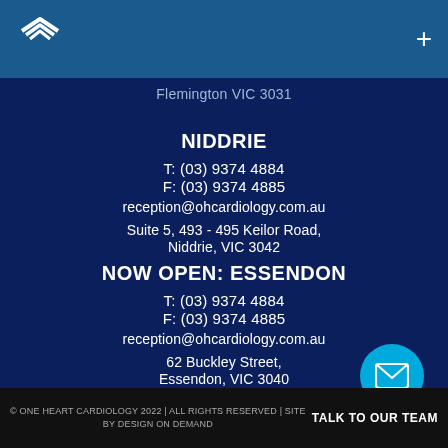Flemington VIC 3031
NIDDRIE
T: (03) 9374 4884
F: (03) 9374 4885
reception@ohcardiology.com.au
Suite 5, 493 - 495 Keilor Road,
Niddrie, VIC 3042
NOW OPEN: ESSENDON
T: (03) 9374 4884
F: (03) 9374 4885
reception@ohcardiology.com.au
62 Buckley Street,
Essendon, VIC 3040
© ONE HEART CARDIOLOGY 2022 | ALL RIGHTS RESERVED | SITE BY DESIGN ON DEMAND   TALK TO OUR TEAM